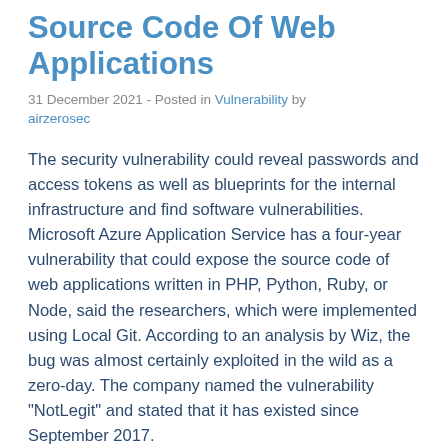Source Code Of Web Applications
31 December 2021 - Posted in Vulnerability by airzerosec
The security vulnerability could reveal passwords and access tokens as well as blueprints for the internal infrastructure and find software vulnerabilities. Microsoft Azure Application Service has a four-year vulnerability that could expose the source code of web applications written in PHP, Python, Ruby, or Node, said the researchers, which were implemented using Local Git. According to an analysis by Wiz, the bug was almost certainly exploited in the wild as a zero-day. The company named the vulnerability "NotLegit" and stated that it has existed since September 2017.
Azure App Service is a cloud computing-based forum for hosting websites and web applications. In